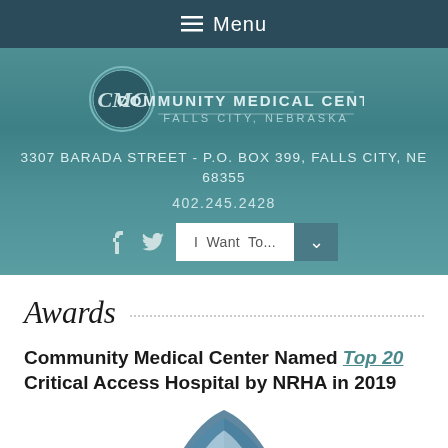≡ Menu
[Figure (logo): Community Medical Center logo with CMC initials in circle and text 'COMMUNITY MEDICAL CENTER FALLS CITY, NEBRASKA']
3307 BARADA STREET - P.O. BOX 399, FALLS CITY, NE 68355
402.245.2428
Awards
Community Medical Center Named Top 20 Critical Access Hospital by NRHA in 2019
[Figure (logo): Partial CMC logo visible at bottom of page]